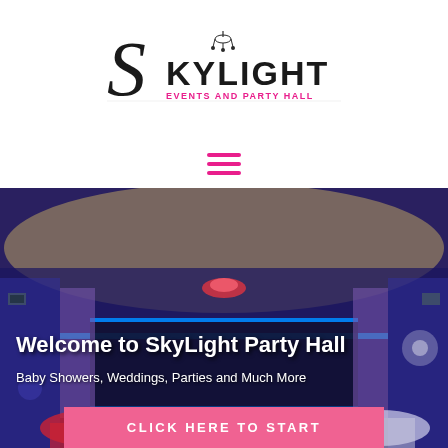[Figure (logo): SkyLight Events and Party Hall logo — stylized 'S' with chandelier and text 'KYLIGHT EVENTS AND PARTY HALL']
[Figure (illustration): Hamburger/menu icon with three horizontal pink bars]
[Figure (photo): Interior photo of SkyLight Party Hall showing blue/purple ambient lighting, chandelier ceiling, DJ booth with neon lights, draped curtains, and round tables with red and white linens]
Welcome to SkyLight Party Hall
Baby Showers, Weddings, Parties and Much More
CLICK HERE TO START